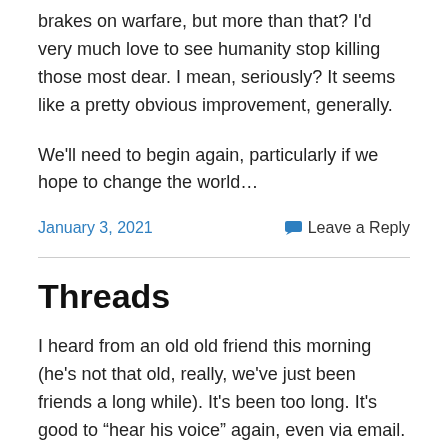brakes on warfare, but more than that? I'd very much love to see humanity stop killing those most dear. I mean, seriously? It seems like a pretty obvious improvement, generally.
We'll need to begin again, particularly if we hope to change the world…
January 3, 2021    Leave a Reply
Threads
I heard from an old old friend this morning (he's not that old, really, we've just been friends a long while). It's been too long. It's good to “hear his voice” again, even via email. Heart-warming.